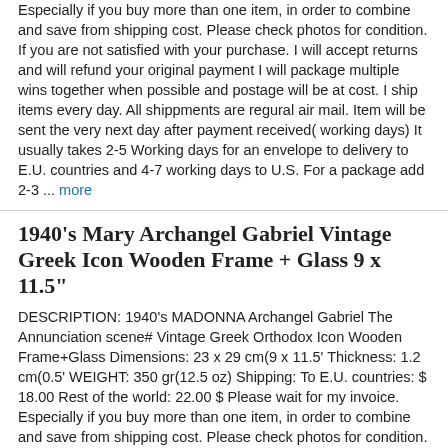Especially if you buy more than one item, in order to combine and save from shipping cost. Please check photos for condition. If you are not satisfied with your purchase. I will accept returns and will refund your original payment I will package multiple wins together when possible and postage will be at cost. I ship items every day. All shippments are regural air mail. Item will be sent the very next day after payment received( working days) It usually takes 2-5 Working days for an envelope to delivery to E.U. countries and 4-7 working days to U.S. For a package add 2-3 ... more
1940's MARY Archangel Gabriel Vintage Greek Icon Wooden Frame + Glass 9 x 11.5"
DESCRIPTION: 1940's MADONNA Archangel Gabriel The Annunciation scene# Vintage Greek Orthodox Icon Wooden Frame+Glass Dimensions: 23 x 29 cm(9 x 11.5' Thickness: 1.2 cm(0.5' WEIGHT: 350 gr(12.5 oz) Shipping: To E.U. countries: $ 18.00 Rest of the world: 22.00 $ Please wait for my invoice. Especially if you buy more than one item, in order to combine and save from shipping cost. Please check photos for condition. If you are not satisfied with your purchase. I will accept returns and will refund your original payment I will package multiple wins together when possible and postage will be at cost. I ship items every day. All shippments are regural air mail. Item will be sent the very next day after payment received( working days) It usually takes 2-5 Working days for an envelope to delivery to E.U. countries and 4-7 working days to ... more
1950's Saint Alexander # Vintage Greek Icon Wooden Frame +